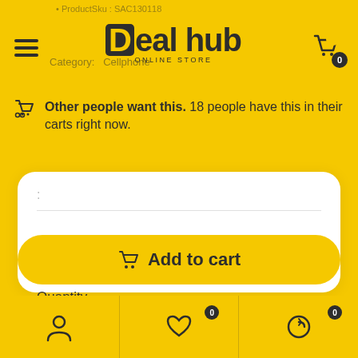Deal hub ONLINE STORE
Product Sku : SAC130118
Category: Cellphones
Other people want this. 18 people have this in their carts right now.
:
R 308.88
Quantity
1
Add to cart
User icon | Wishlist 0 | Orders 0